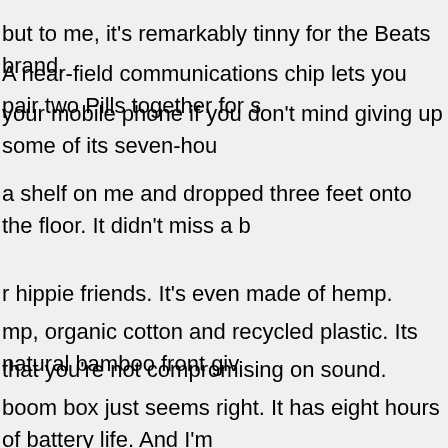but to me, it's remarkably tinny for the Beats brand.
A near-field communications chip lets you pair two Pills together for s
your mobile phone if you don't mind giving up some of its seven-hou
a shelf on me and dropped three feet onto the floor. It didn't miss a b
r hippie friends. It's even made of hemp.
mp, organic cotton and recycled plastic. Its natural bamboo front giv
that you're not compromising on sound.
boom box just seems right. It has eight hours of battery life. And I'm
used for charging mobile devices.
on its head. A speaker grill encircles a body that is shaped like a ric
nobility from a speaker system, but for whom weight is no issue. With
akers. But it's an attractive travel companion with its four speaker se